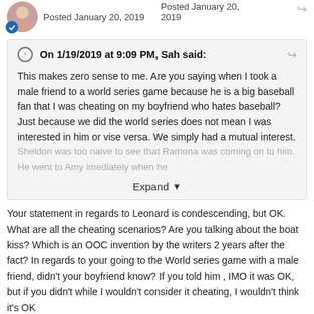Posted January 20, 2019
Posted January 20, 2019
On 1/19/2019 at 9:09 PM, Sah said: This makes zero sense to me. Are you saying when I took a male friend to a world series game because he is a big baseball fan that I was cheating on my boyfriend who hates baseball? Just because we did the world series does not mean I was interested in him or vise versa. We simply had a mutual interest. Sheldon was too naive to see that Ramona was coming on to him. He went to Amy imediately when he [Expand]
Your statement in regards to Leonard is condescending, but OK. What are all the cheating scenarios? Are you talking about the boat kiss? Which is an OOC invention by the writers 2 years after the fact? In regards to your going to the World series game with a male friend, didn't your boyfriend know? If you told him , IMO it was OK, but if you didn't while I wouldn't consider it cheating, I wouldn't think it's OK